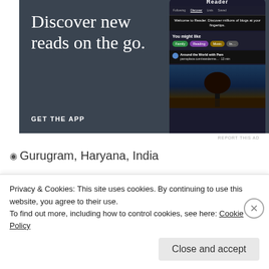[Figure (screenshot): WordPress Reader app advertisement banner with dark blue-grey background. Left side shows large serif text 'Discover new reads on the go.' with 'GET THE APP' call to action. Right side shows a phone screenshot of the Reader app with blog discovery interface and a nature landscape image.]
REPORT THIS AD
📍 Gurugram, Haryana, India
SOCIAL MEDIA LOVE:
Privacy & Cookies: This site uses cookies. By continuing to use this website, you agree to their use.
To find out more, including how to control cookies, see here: Cookie Policy
Close and accept